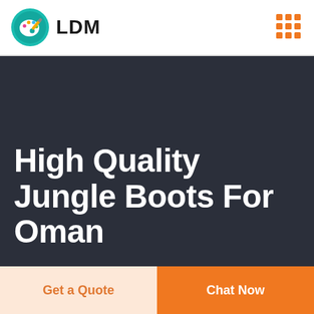[Figure (logo): LDM brand logo with circular paint palette icon and bold LDM text]
[Figure (other): Orange 3x3 grid dots icon in top right corner]
High Quality Jungle Boots For Oman
Get a Quote
Chat Now